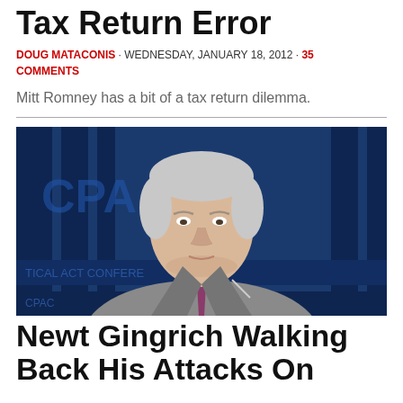Tax Return Error
DOUG MATACONIS · WEDNESDAY, JANUARY 18, 2012 · 35 COMMENTS
Mitt Romney has a bit of a tax return dilemma.
[Figure (photo): Newt Gingrich speaking at CPAC (Conservative Political Action Conference), wearing a grey suit and purple tie, in front of a blue CPAC backdrop]
Newt Gingrich Walking Back His Attacks On